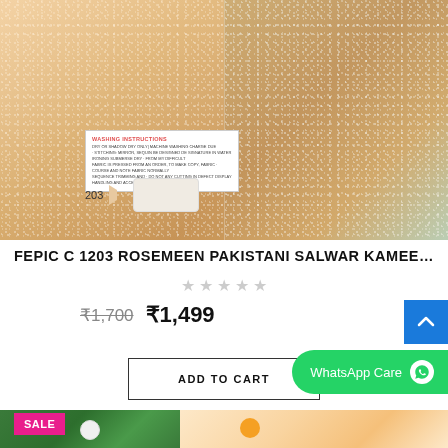[Figure (photo): Product photo of a gold/rose sequin Pakistani salwar kameez outfit, two views side by side, with a care label inset and color swatch number 203]
FEPIC C 1203 ROSEMEEN PAKISTANI SALWAR KAMEEZ W...
★ ★ ★ ★ ★ (no rating)
₹1,700  ₹1,499
ADD TO CART
WhatsApp Care
[Figure (photo): Bottom strip showing a SALE badge and partial product images]
SALE